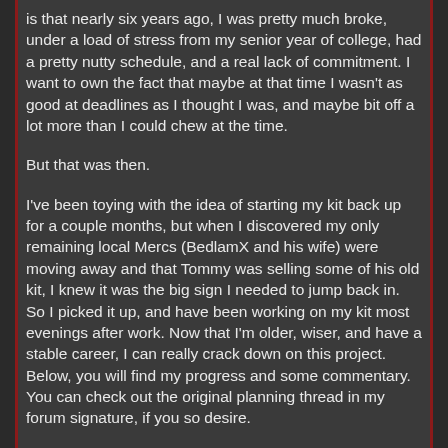is that nearly six years ago, I was pretty much broke, under a load of stress from my senior year of college, had a pretty nutty schedule, and a real lack of commitment. I want to own the fact that maybe at that time I wasn't as good at deadlines as I thought I was, and maybe bit off a lot more than I could chew at the time.
But that was then.
I've been toying with the idea of starting my kit back up for a couple months, but when I discovered my only remaining local Mercs (BedlamX and his wife) were moving away and that Tommy was selling some of his old kit, I knew it was the big sign I needed to jump back in. So I picked it up, and have been working on my kit most evenings after work. Now that I'm older, wiser, and have a stable career, I can really crack down on this project. Below, you will find my progress and some commentary. You can check out the original planning thread in my forum signature, if you so desire.